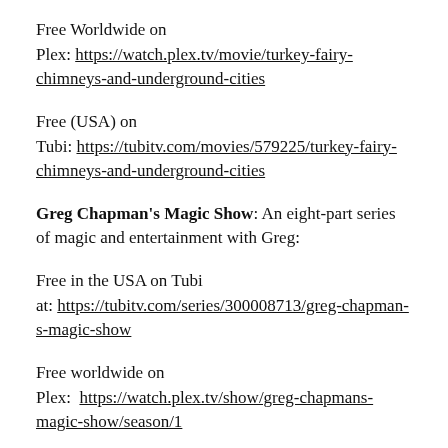Free Worldwide on
Plex: https://watch.plex.tv/movie/turkey-fairy-chimneys-and-underground-cities
Free (USA) on
Tubi: https://tubitv.com/movies/579225/turkey-fairy-chimneys-and-underground-cities
Greg Chapman's Magic Show: An eight-part series of magic and entertainment with Greg:
Free in the USA on Tubi
at: https://tubitv.com/series/300008713/greg-chapmans-magic-show
Free worldwide on
Plex: https://watch.plex.tv/show/greg-chapmans-magic-show/season/1